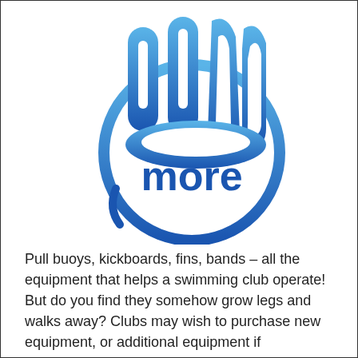[Figure (logo): A blue stylized hand/swimming figure logo with the word 'more' written inside a circular smiley face shape. The logo uses gradient blue colors from light blue at top to darker blue at bottom.]
Pull buoys, kickboards, fins, bands – all the equipment that helps a swimming club operate! But do you find they somehow grow legs and walks away? Clubs may wish to purchase new equipment, or additional equipment if